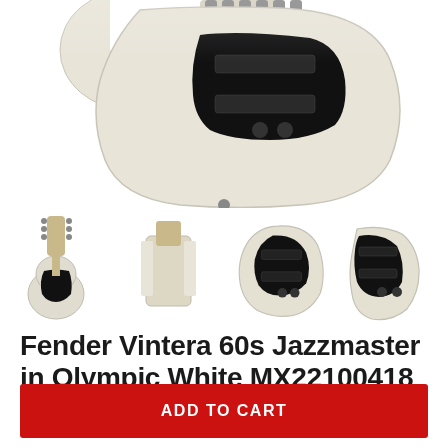[Figure (photo): Main large product image of Fender Vintera 60s Jazzmaster guitar body in Olympic White, showing headstock and body top portion from above]
[Figure (photo): Four thumbnail images of the Fender Vintera 60s Jazzmaster: full guitar front view, back of headstock, front body close-up, and angled body view]
Fender Vintera 60s Jazzmaster in Olympic White MX22100418
$1,199.99
ADD TO CART